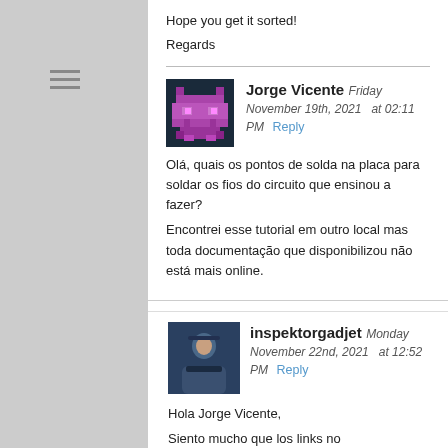Hope you get it sorted!
Regards
Jorge Vicente  Friday November 19th, 2021  at 02:11 PM  Reply
[Figure (illustration): Pixel art avatar with purple robot character on dark background]
Olá, quais os pontos de solda na placa para soldar os fios do circuito que ensinou a fazer?
Encontrei esse tutorial em outro local mas toda documentação que disponibilizou não está mais online.
inspektorgadjet  Monday November 22nd, 2021  at 12:52 PM  Reply
[Figure (photo): Profile photo of a person, dark blue tones]
Hola Jorge Vicente,
Siento mucho que los links no